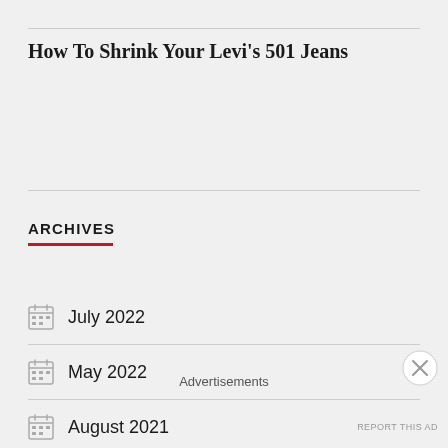How To Shrink Your Levi's 501 Jeans
ARCHIVES
July 2022
May 2022
August 2021
Advertisements